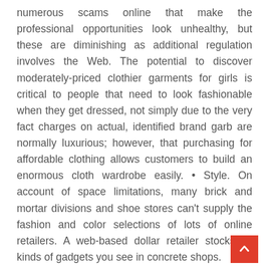numerous scams online that make the professional opportunities look unhealthy, but these are diminishing as additional regulation involves the Web. The potential to discover moderately-priced clothier garments for girls is critical to people that need to look fashionable when they get dressed, not simply due to the very fact charges on actual, identified brand garb are normally luxurious; however, that purchasing for affordable clothing allows customers to build an enormous cloth wardrobe easily. • Style. On account of space limitations, many brick and mortar divisions and shoe stores can't supply the fashion and color selections of lots of online retailers. A web-based dollar retailer stocks all kinds of gadgets you see in concrete shops.

Any such business allows associates to st... merchandise at a warehouse without buying the